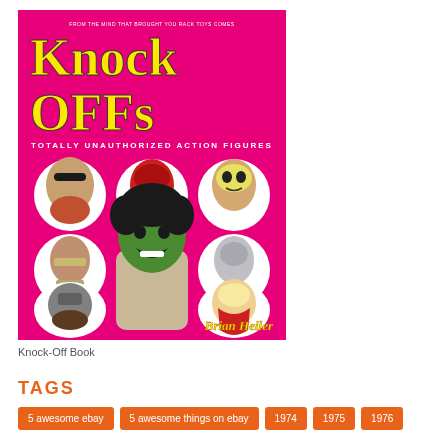[Figure (illustration): Book cover of 'Knock Offs: Totally Unauthorized Action Figures' by Brian Heiler. Hot pink background with yellow chunky title text. Shows various action figure heads in rounded white bubbles (Mr. T, a red robot/masked figure, Skeletor, a military figure, a gray robot, a knight/warrior, He-Man type figure), and a central large image of a child dressed as the Incredible Hulk with green face paint and black wig.]
Knock-Off Book
TAGS
5 awesome ebay
5 awesome things on ebay
1974
1975
1976